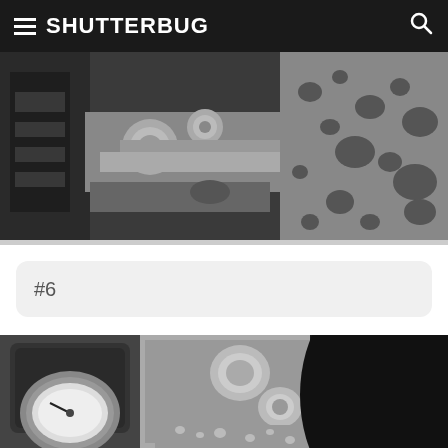SHUTTERBUG
[Figure (photo): Black and white close-up photo of wet motorcycle components including handlebars, bolts, and a surface covered in water droplets]
#6
[Figure (photo): Black and white close-up photo of wet motorcycle parts including a gauge/speedometer, brake caliper, and water droplets on metal surfaces]